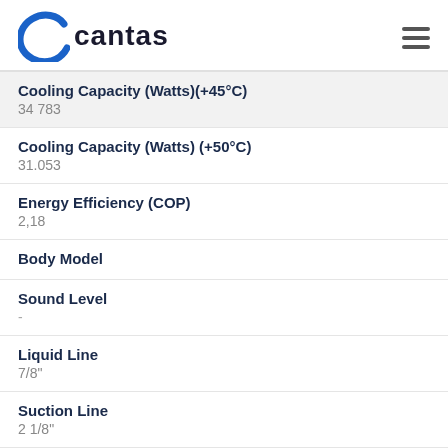[Figure (logo): Cantaş company logo with blue C icon and bold black text]
Cooling Capacity (Watts)(+45°C)
34 783
Cooling Capacity (Watts) (+50°C)
31.053
Energy Efficiency (COP)
2,18
Body Model
Sound Level
-
Liquid Line
7/8"
Suction Line
2 1/8"
Charge Valve
-